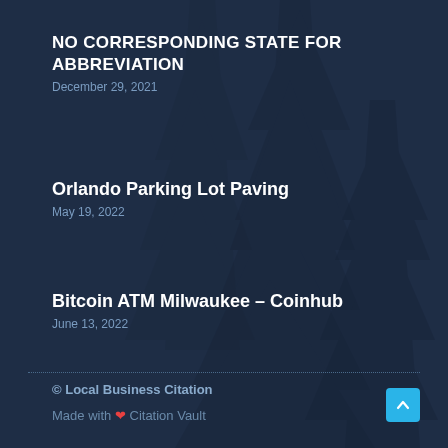NO CORRESPONDING STATE FOR ABBREVIATION
December 29, 2021
Orlando Parking Lot Paving
May 19, 2022
Bitcoin ATM Milwaukee – Coinhub
June 13, 2022
© Local Business Citation
Made with ❤ Citation Vault